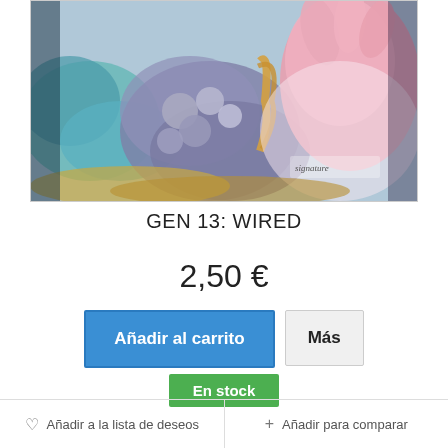[Figure (illustration): Comic book cover artwork showing a colorful fantasy/superhero illustration with blue, purple, pink and teal hues. A female figure with elaborate decorative elements, metallic and organic textures. Artist signature visible at bottom right.]
GEN 13: WIRED
2,50 €
Añadir al carrito
Más
En stock
♡ Añadir a la lista de deseos
+ Añadir para comparar